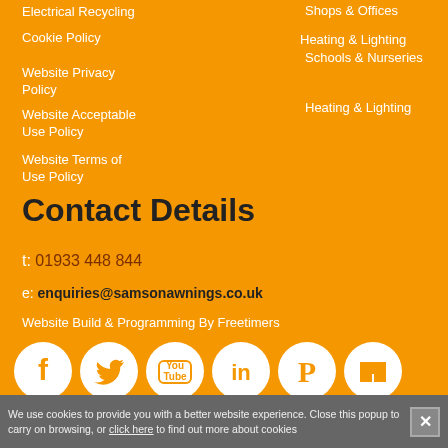Electrical Recycling
Heating & Lighting
Cookie Policy
Shops & Offices
Website Privacy Policy
Schools & Nurseries
Website Acceptable Use Policy
Heating & Lighting
Website Terms of Use Policy
Contact Details
t: 01933 448 844
e: enquiries@samsonawnings.co.uk
Website Build & Programming By Freetimers
[Figure (infographic): Row of 6 social media icons: Facebook, Twitter, YouTube, LinkedIn, Pinterest, Houzz — white icons on white circle backgrounds on orange background]
We use cookies to provide you with a better website experience. Close this popup to carry on browsing, or click here to find out more about cookies